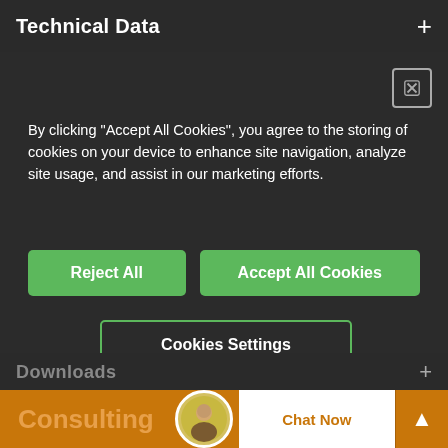Technical Data
By clicking “Accept All Cookies”, you agree to the storing of cookies on your device to enhance site navigation, analyze site usage, and assist in our marketing efforts.
Reject All
Accept All Cookies
Cookies Settings
Downloads
Consulting
Chat Now